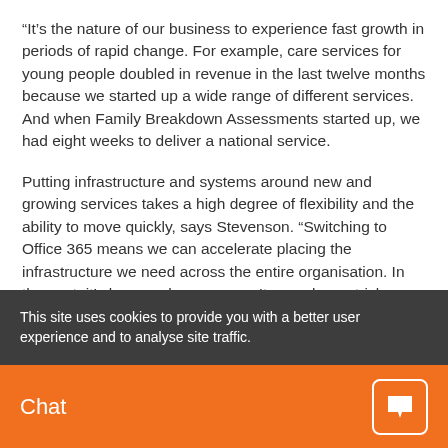“It’s the nature of our business to experience fast growth in periods of rapid change. For example, care services for young people doubled in revenue in the last twelve months because we started up a wide range of different services. And when Family Breakdown Assessments started up, we had eight weeks to deliver a national service.
Putting infrastructure and systems around new and growing services takes a high degree of flexibility and the ability to move quickly, says Stevenson. “Switching to Office 365 means we can accelerate placing the infrastructure we need across the entire organisation. In the past, it’s been a slow process. It was always tricky integrating the ‘work comes in and reports
This site uses cookies to provide you with a better user experience and to analyse site traffic.
Chat